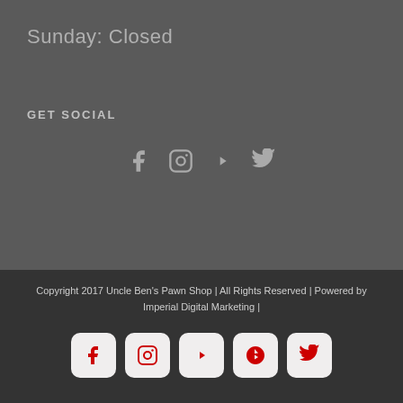Sunday: Closed
GET SOCIAL
[Figure (infographic): Social media icons: Facebook, Instagram, YouTube, Twitter in light gray]
Copyright 2017 Uncle Ben's Pawn Shop | All Rights Reserved | Powered by Imperial Digital Marketing |
[Figure (infographic): Social media icon buttons: Facebook, Instagram, YouTube, Yelp, Twitter in red on light rounded square backgrounds]